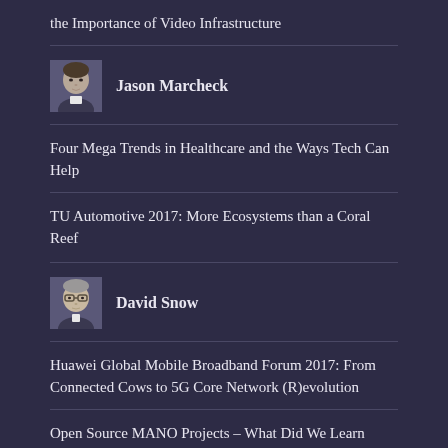the Importance of Video Infrastructure
[Figure (photo): Headshot photo of Jason Marcheck]
Jason Marcheck
Four Mega Trends in Healthcare and the Ways Tech Can Help
TU Automotive 2017: More Ecosystems than a Coral Reef
[Figure (photo): Headshot photo of David Snow]
David Snow
Huawei Global Mobile Broadband Forum 2017: From Connected Cows to 5G Core Network (R)evolution
Open Source MANO Projects – What Did We Learn